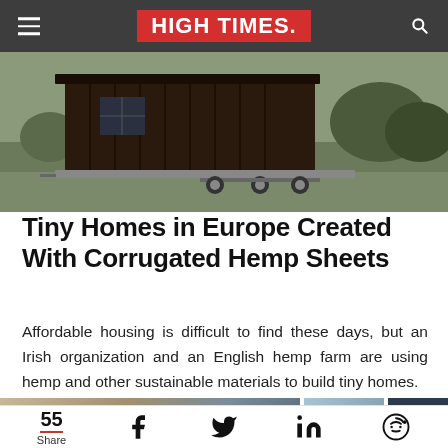HIGH TIMES
[Figure (photo): Tiny wooden house on a trailer in a grassy field]
Tiny Homes in Europe Created With Corrugated Hemp Sheets
Affordable housing is difficult to find these days, but an Irish organization and an English hemp farm are using hemp and other sustainable materials to build tiny homes.
[Figure (photo): Partial view of article images at bottom]
55 Share